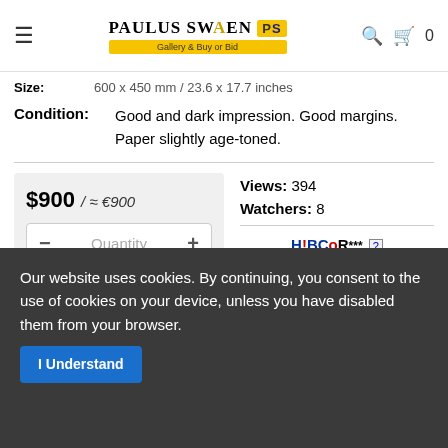Paulus Swaen Gallery & Buy or Bid
Size: 600 x 450 mm / 23.6 x 17.7 inches
Condition: Good and dark impression. Good margins. Paper slightly age-toned.
$900 / ≈ €900
Quantity
Add to Cart
Views: 394
Watchers: 8
H!BCoR*** [?] GRADING ★★★★★☆☆☆☆☆ Historical ● ● ● ○ ○ ○
Our website uses cookies. By continuing, you consent to the use of cookies on your device, unless you have disabled them from your browser.
I Understand